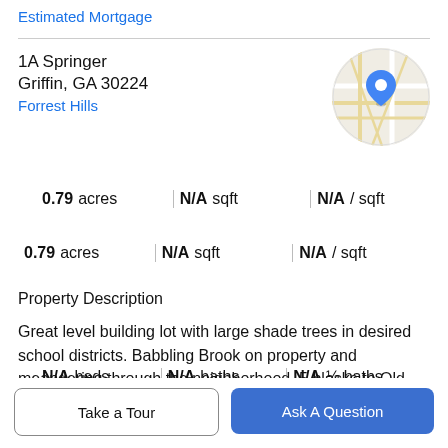Estimated Mortgage
1A Springer
Griffin, GA 30224
Forrest Hills
[Figure (map): Circular map thumbnail showing street map with a blue location pin marker in the center]
| N/A beds | N/A baths | N/A ½ baths |
| 0.79 acres | N/A sqft | N/A / sqft |
Property Description
Great level building lot with large shade trees in desired school districts. Babbling Brook on property and meandering through the neighborhood. 5 blocks to Old Third Ward Neighborhood Park with walking tracks, picnic areas, playground and dog friendly. Walking distance to
Take a Tour
Ask A Question